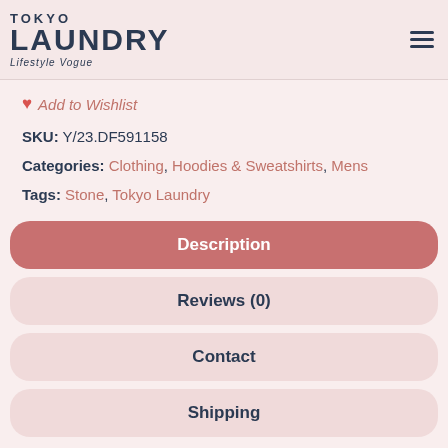TOKYO LAUNDRY Lifestyle Vogue
♥ Add to Wishlist
SKU: Y/23.DF591158
Categories: Clothing, Hoodies & Sweatshirts, Mens
Tags: Stone, Tokyo Laundry
Description
Reviews (0)
Contact
Shipping